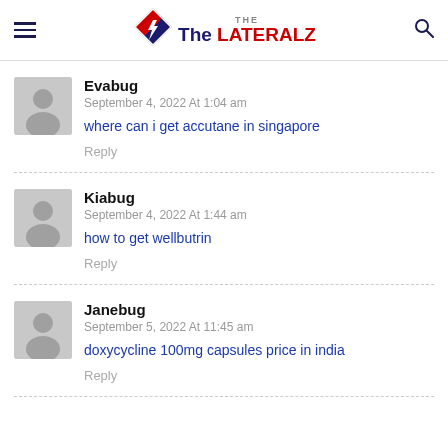The LATERALZ
Evabug
September 4, 2022 At 1:04 am
where can i get accutane in singapore
Reply
Kiabug
September 4, 2022 At 1:44 am
how to get wellbutrin
Reply
Janebug
September 5, 2022 At 11:45 am
doxycycline 100mg capsules price in india
Reply